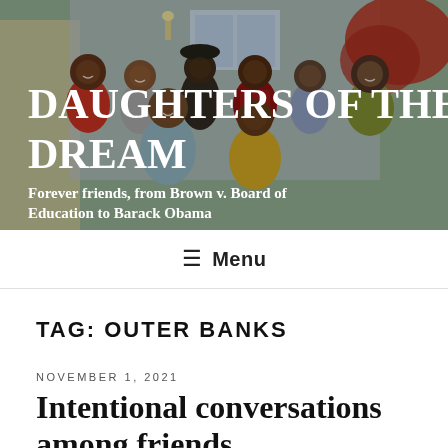[Figure (photo): Group photo of women standing outdoors in front of a house. Text overlay reads 'DAUGHTERS OF THE DREAM' and subtitle 'Forever friends, from Brown v. Board of Education to Barack Obama'.]
DAUGHTERS OF THE DREAM
Forever friends, from Brown v. Board of Education to Barack Obama
≡ Menu
TAG: OUTER BANKS
NOVEMBER 1, 2021
Intentional conversations among friends